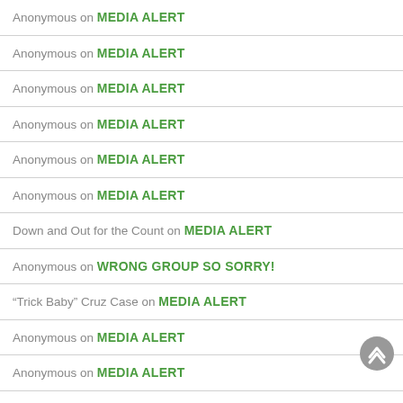Anonymous on MEDIA ALERT
Anonymous on MEDIA ALERT
Anonymous on MEDIA ALERT
Anonymous on MEDIA ALERT
Anonymous on MEDIA ALERT
Anonymous on MEDIA ALERT
Down and Out for the Count on MEDIA ALERT
Anonymous on WRONG GROUP SO SORRY!
“Trick Baby” Cruz Case on MEDIA ALERT
Anonymous on MEDIA ALERT
Anonymous on MEDIA ALERT
Anonymous on MEDIA ALERT
Anonymous on NEWMAN V. PRYOR!